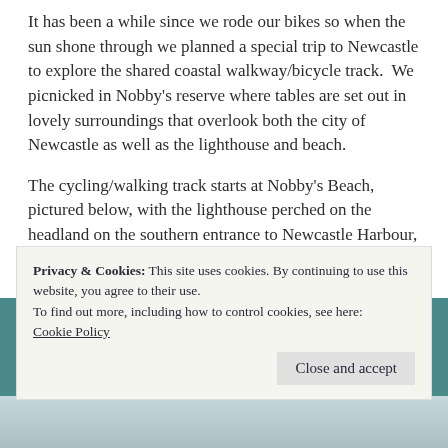It has been a while since we rode our bikes so when the sun shone through we planned a special trip to Newcastle to explore the shared coastal walkway/bicycle track.  We picnicked in Nobby's reserve where tables are set out in lovely surroundings that overlook both the city of Newcastle as well as the lighthouse and beach.
The cycling/walking track starts at Nobby's Beach, pictured below, with the lighthouse perched on the headland on the southern entrance to Newcastle Harbour, and winds its way along the coast southwards.
Privacy & Cookies: This site uses cookies. By continuing to use this website, you agree to their use.
To find out more, including how to control cookies, see here:
Cookie Policy
[Figure (photo): Partial beach/coastal photo strip at the bottom of the page, showing a light blue-gray coastal scene.]